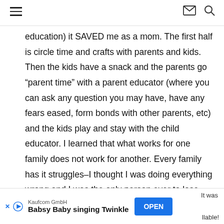Navigation header with hamburger menu, mail icon, and search icon
education) it SAVED me as a mom. The first half is circle time and crafts with parents and kids. Then the kids have a snack and the parents go “parent time” with a parent educator (where you can ask any question you may have, have any fears eased, form bonds with other parents, etc) and the kids play and stay with the child educator. I learned that what works for one family does not work for another. Every family has it struggles–I thought I was doing everything wrong and I was the only person ever to lose their patience with their kids. Plus, you get to share the joy and successes in parenting. For 2 years, I was a child
It was llable!
Kaufcom GmbH – Babsy Baby singing Twinkle – OPEN